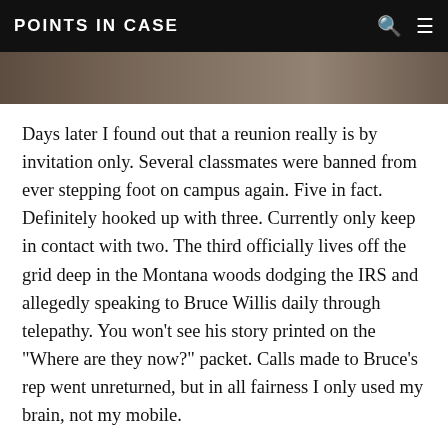POINTS IN CASE
[Figure (photo): Partial image visible as a dark strip at the top of the article content area]
Days later I found out that a reunion really is by invitation only. Several classmates were banned from ever stepping foot on campus again. Five in fact. Definitely hooked up with three. Currently only keep in contact with two. The third officially lives off the grid deep in the Montana woods dodging the IRS and allegedly speaking to Bruce Willis daily through telepathy. You won't see his story printed on the "Where are they now?" packet. Calls made to Bruce's rep went unreturned, but in all fairness I only used my brain, not my mobile.